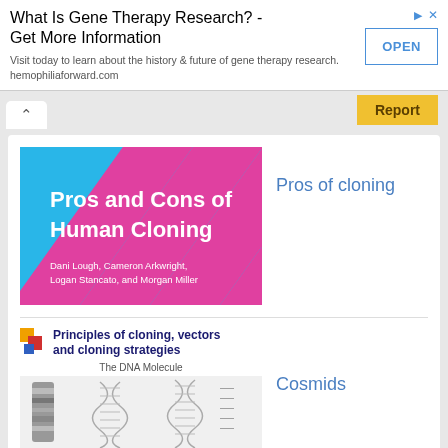What Is Gene Therapy Research? - Get More Information
Visit today to learn about the history & future of gene therapy research. hemophiliaforward.com
[Figure (screenshot): Slide thumbnail: Pros and Cons of Human Cloning, blue and magenta diagonal stripes, authors: Dani Lough, Cameron Arkwright, Logan Stancato, and Morgan Miller]
Pros of cloning
[Figure (screenshot): Principles of cloning, vectors and cloning strategies slide header with colorful icon and DNA Molecule diagram showing double helix structures]
Cosmids